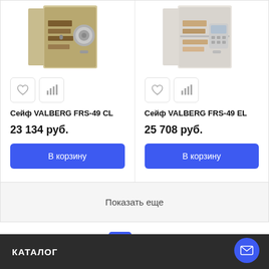[Figure (photo): Photo of VALBERG FRS-49 CL safe, beige/cream colored, partially open showing contents inside]
Сейф VALBERG FRS-49 CL
23 134 руб.
В корзину
[Figure (photo): Photo of VALBERG FRS-49 EL safe, white/light colored, partially open showing contents inside]
Сейф VALBERG FRS-49 EL
25 708 руб.
В корзину
Показать еще
1
2
КАТАЛОГ